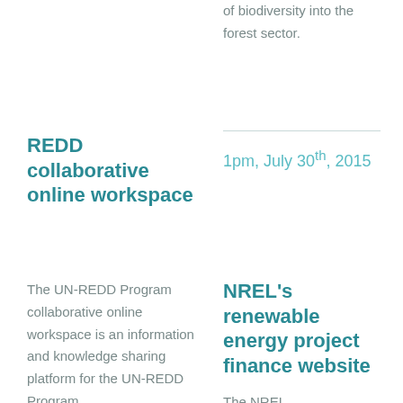of biodiversity into the forest sector.
REDD collaborative online workspace
1pm, July 30th, 2015
The UN-REDD Program collaborative online workspace is an information and knowledge sharing platform for the UN-REDD Program
NREL's renewable energy project finance website
The NREL